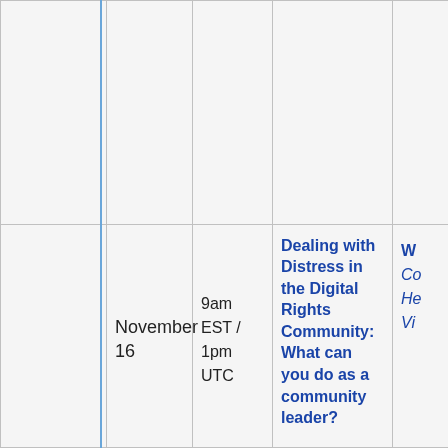|  |  |  |  |  |  |
|  |  | November 16 | 9am EST / 1pm UTC | Dealing with Distress in the Digital Rights Community: What can you do as a community leader? | W... Co... He... Vi... |